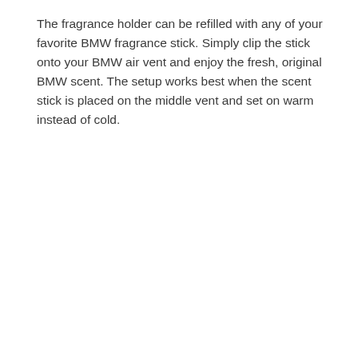The fragrance holder can be refilled with any of your favorite BMW fragrance stick. Simply clip the stick onto your BMW air vent and enjoy the fresh, original BMW scent. The setup works best when the scent stick is placed on the middle vent and set on warm instead of cold.